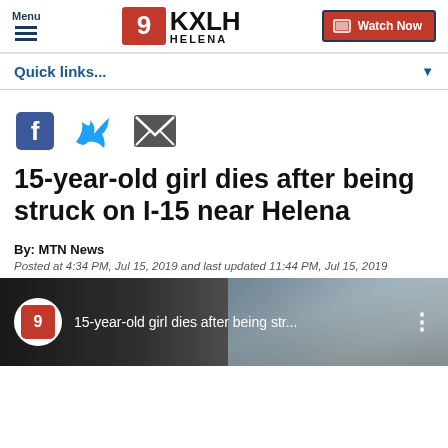Menu | 9 KXLH Helena | Watch Now
Quick links...
[Figure (other): Social media share icons: Facebook, Twitter, Email]
15-year-old girl dies after being struck on I-15 near Helena
By: MTN News
Posted at 4:34 PM, Jul 15, 2019 and last updated 11:44 PM, Jul 15, 2019
[Figure (screenshot): Video player thumbnail showing '15-year-old girl dies after being str...' with KXLH channel 9 logo icon and a highway scene in the background]